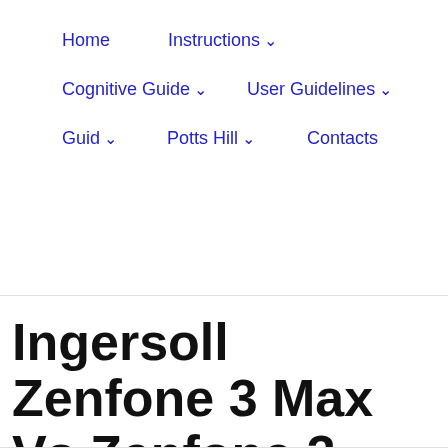Home   Instructions ∨   Cognitive Guide ∨   User Guidelines ∨   Guid ∨   Potts Hill ∨   Contacts
Ingersoll Zenfone 3 Max Vs Zenfone 3